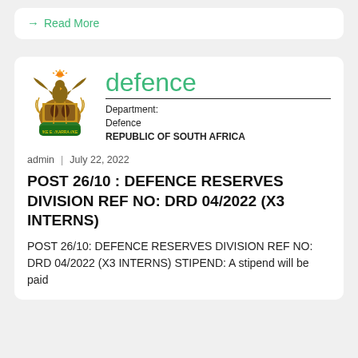→ Read More
[Figure (logo): Coat of Arms of South Africa with eagle and shield]
defence
Department: Defence
REPUBLIC OF SOUTH AFRICA
admin | July 22, 2022
POST 26/10 : DEFENCE RESERVES DIVISION REF NO: DRD 04/2022 (X3 INTERNS)
POST 26/10: DEFENCE RESERVES DIVISION REF NO: DRD 04/2022 (X3 INTERNS) STIPEND: A stipend will be paid